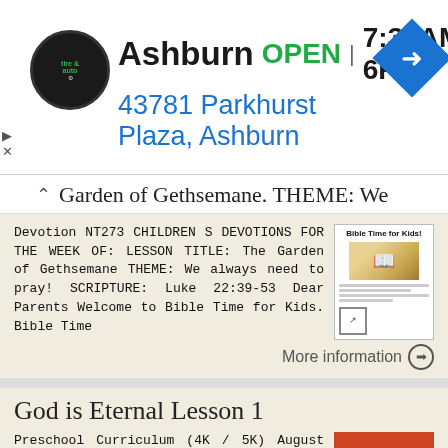[Figure (screenshot): Ad banner for Ashburn tire & auto shop showing logo, OPEN status, hours 7:30AM-6PM, address 43781 Parkhurst Plaza Ashburn, and blue diamond navigation arrow]
Garden of Gethsemane. THEME: We
Devotion NT273 CHILDREN S DEVOTIONS FOR THE WEEK OF: LESSON TITLE: The Garden of Gethsemane THEME: We always need to pray! SCRIPTURE: Luke 22:39-53 Dear Parents Welcome to Bible Time for Kids. Bible Time
More information →
God is Eternal Lesson 1
Preschool Curriculum (4K / 5K) August 15 th & 16 th, 2009 God is Eternal Lesson 1 Divine Attribute: Heart Response: God is Eternal Be Amazed Memory Verse: Jesus